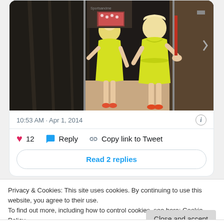[Figure (photo): Two women wearing bright yellow dresses in what appears to be a clothing store fitting room area. One is reflected in a mirror. Wood-paneled walls in background.]
10:53 AM · Apr 1, 2014
12  Reply  Copy link to Tweet
Read 2 replies
Privacy & Cookies: This site uses cookies. By continuing to use this website, you agree to their use.
To find out more, including how to control cookies, see here: Cookie Policy
Close and accept